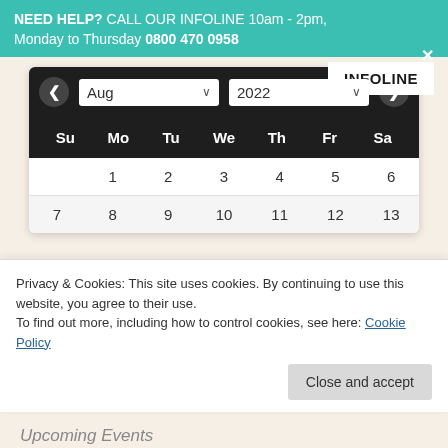NEED HELP? CALL OUR INFOLINE 10am - 2pm, Monday to Thursday 0800 470 0958
[Figure (screenshot): Calendar widget showing August 2022 with navigation arrows, month/year dropdowns, day headers (Su Mo Tu We Th Fr Sa), and date rows showing 1-6 and 7-13]
Privacy & Cookies: This site uses cookies. By continuing to use this website, you agree to their use. To find out more, including how to control cookies, see here: Cookie Policy
Close and accept
Upcoming Events